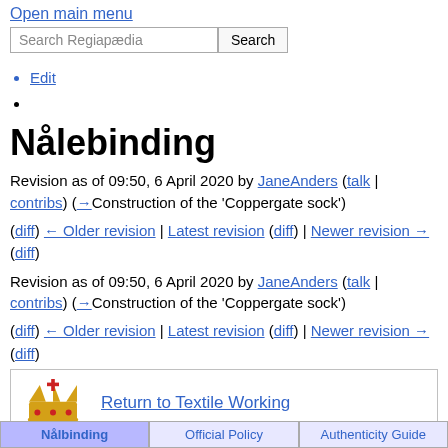Open main menu
Search Regiapædia [Search button]
Edit
Nålebinding
Revision as of 09:50, 6 April 2020 by JaneAnders (talk | contribs) (→Construction of the 'Coppergate sock')
(diff) ← Older revision | Latest revision (diff) | Newer revision → (diff)
Revision as of 09:50, 6 April 2020 by JaneAnders (talk | contribs) (→Construction of the 'Coppergate sock')
(diff) ← Older revision | Latest revision (diff) | Newer revision → (diff)
Return to Textile Working
Nålebinding | Official Policy | Authenticity Guide